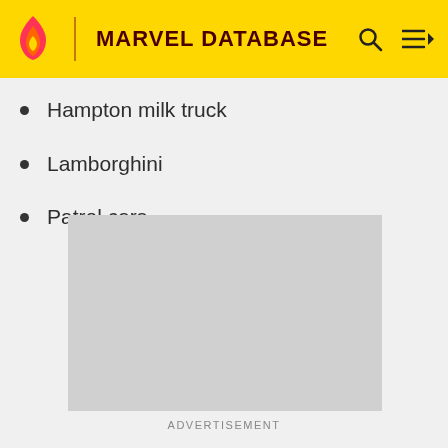MARVEL DATABASE
Hampton milk truck
Lamborghini
Patrol cars
[Figure (other): Gray advertisement placeholder rectangle]
ADVERTISEMENT